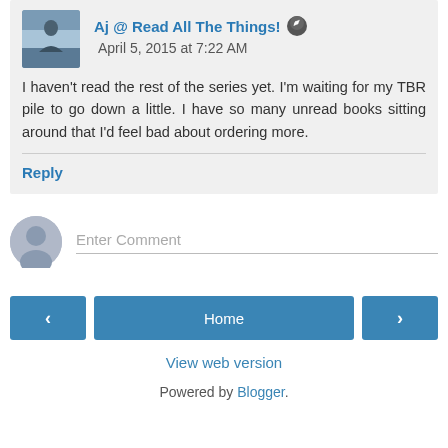Aj @ Read All The Things! April 5, 2015 at 7:22 AM
I haven't read the rest of the series yet. I'm waiting for my TBR pile to go down a little. I have so many unread books sitting around that I'd feel bad about ordering more.
Reply
Enter Comment
Home
View web version
Powered by Blogger.